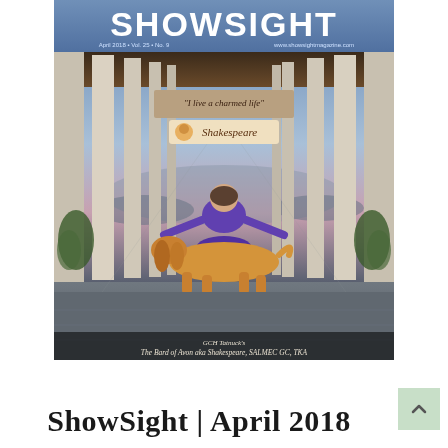[Figure (photo): Cover of ShowSight magazine, April 2018. Shows the SHOWSIGHT masthead in bold white letters on a blue gradient banner at top, with small text 'April 2018 • Vol. 25 • No. 9' and 'www.showsightmagazine.com'. Below is a photograph of a woman in a purple jacket kneeling behind a golden/red setter-type show dog inside a grand columned corridor/portico with a view of landscape at sunset. Above the woman is a sign reading 'I live a charmed life' and below that 'Shakespeare' with a small dog logo. At the bottom of the image caption text reads: 'GCH Tatnuck's The Bard of Avon aka Shakespeare, SALMEC GC, TKA']
ShowSight | April 2018